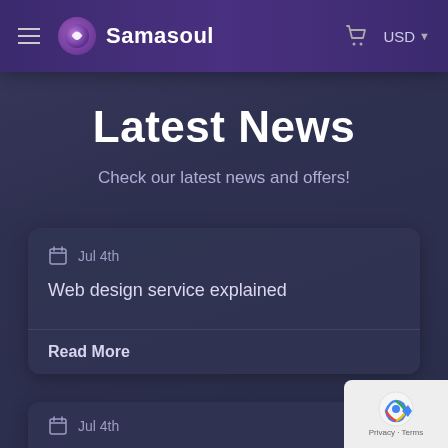Samasoul — USD
Latest News
Check our latest news and offers!
Jul 4th — Web design service explained
Read More
Jul 4th